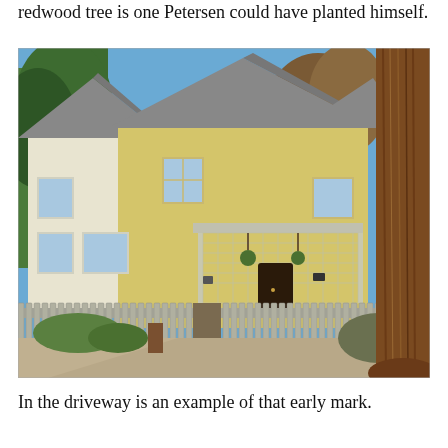redwood tree is one Petersen could have planted himself.
[Figure (photo): Photograph of a yellow Victorian-style house with a covered front porch, white picket fence, and a large redwood tree trunk visible on the right side. A driveway leads to the front. Blue sky visible above.]
In the driveway is an example of that early mark.